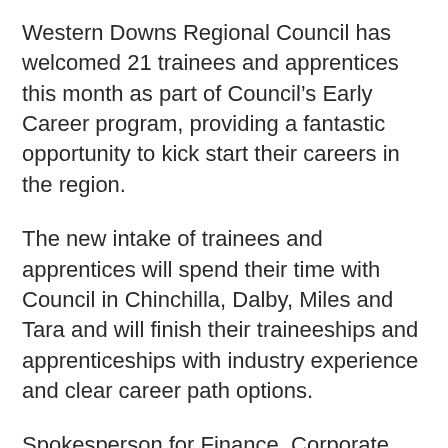Western Downs Regional Council has welcomed 21 trainees and apprentices this month as part of Council’s Early Career program, providing a fantastic opportunity to kick start their careers in the region.
The new intake of trainees and apprentices will spend their time with Council in Chinchilla, Dalby, Miles and Tara and will finish their traineeships and apprenticeships with industry experience and clear career path options.
Spokesperson for Finance, Corporate Services and Business Strategy Councillor Ian Rasmussen said that Council was committed to providing the residents of the Western Downs with an...